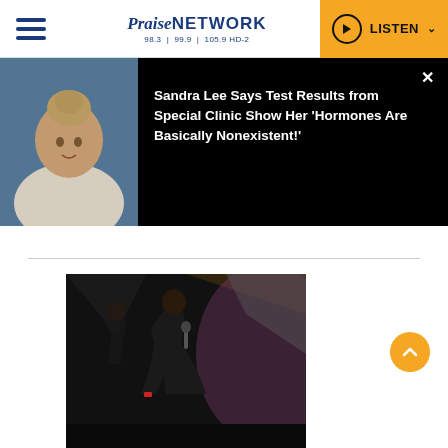Praise NETWORK 98.3 | 99.9 | 105.9 HD-2 | LISTEN
[Figure (photo): Blonde woman with hair in bun wearing white top, smiling outdoors]
Sandra Lee Says Test Results from Special Clinic Show Her 'Hormones Are Basically Nonexistent!'
[Figure (photo): Female performer in black outfit singing on stage with dramatic lighting and backup dancers]